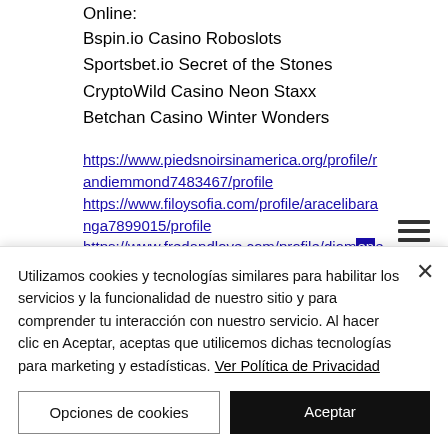Online:
Bspin.io Casino Roboslots
Sportsbet.io Secret of the Stones
CryptoWild Casino Neon Staxx
Betchan Casino Winter Wonders
https://www.piedsnoirsinamerica.org/profile/randiemmond7483467/profile
https://www.filoysofia.com/profile/aracelibaranga7899015/profile
https://www.fredandlove.com/profile/diomenejan1312134/profile
https://www.dehazorgservice.com/profile/clay...
Utilizamos cookies y tecnologías similares para habilitar los servicios y la funcionalidad de nuestro sitio y para comprender tu interacción con nuestro servicio. Al hacer clic en Aceptar, aceptas que utilicemos dichas tecnologías para marketing y estadísticas. Ver Política de Privacidad
Opciones de cookies
Aceptar